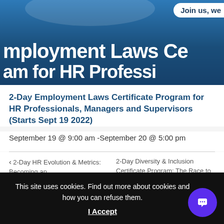[Figure (photo): Blue banner header for '2-Day Employment Laws Certificate Program for HR Professionals' with white bold text and a 'Join us, we...' badge in top right corner]
2-Day Employment Laws Certificate Program for HR Professionals, Managers and Supervisors (Starts Sept 19 2022)
September 19 @ 9:00 am -September 20 @ 5:00 pm
< 2-Day HR Evolution & Metrics: Becoming an
2-Day Diversity & Inclusion Certificate Program: The Race to
This site uses cookies. Find out more about cookies and how you can refuse them. I Accept